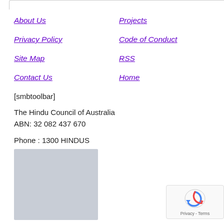About Us
Projects
Privacy Policy
Code of Conduct
Site Map
RSS
Contact Us
Home
[smbtoolbar]
The Hindu Council of Australia
ABN: 32 082 437 670
Phone : 1300 HINDUS
[Figure (other): Gray placeholder image block]
[Figure (other): reCAPTCHA widget showing Privacy - Terms]